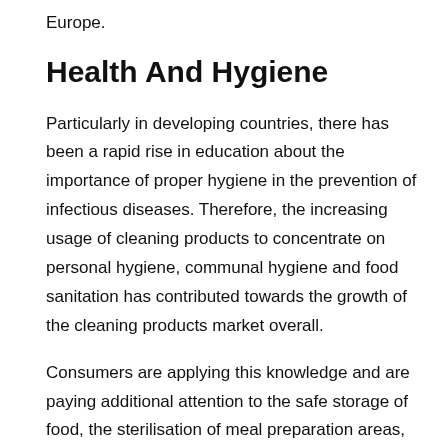Europe.
Health And Hygiene
Particularly in developing countries, there has been a rapid rise in education about the importance of proper hygiene in the prevention of infectious diseases. Therefore, the increasing usage of cleaning products to concentrate on personal hygiene, communal hygiene and food sanitation has contributed towards the growth of the cleaning products market overall.
Consumers are applying this knowledge and are paying additional attention to the safe storage of food, the sterilisation of meal preparation areas, and the thorough cleaning of bathrooms as well as other household surfaces. Buyers from all regions are also controlling the disposal of their children's learning materials with...